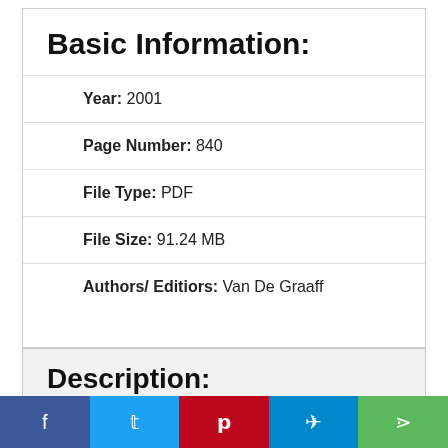Basic Information:
Year: 2001
Page Number: 840
File Type: PDF
File Size: 91.24 MB
Authors/ Editiors: Van De Graaff
Description: